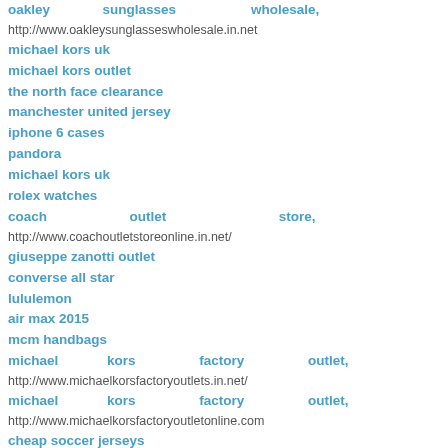oakley sunglasses wholesale,
http://www.oakleysunglasseswholesale.in.net
michael kors uk
michael kors outlet
the north face clearance
manchester united jersey
iphone 6 cases
pandora
michael kors uk
rolex watches
coach outlet store,
http://www.coachoutletstoreonline.in.net/
giuseppe zanotti outlet
converse all star
lululemon
air max 2015
mcm handbags
michael kors factory outlet,
http://www.michaelkorsfactoryoutlets.in.net/
michael kors factory outlet,
http://www.michaelkorsfactoryoutletonline.com
cheap soccer jerseys
true religion jeans,